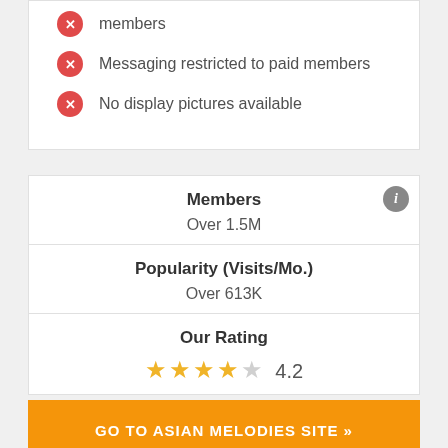members
Messaging restricted to paid members
No display pictures available
| Members | Over 1.5M |
| Popularity (Visits/Mo.) | Over 613K |
| Our Rating | 4.2 |
GO TO ASIAN MELODIES SITE »